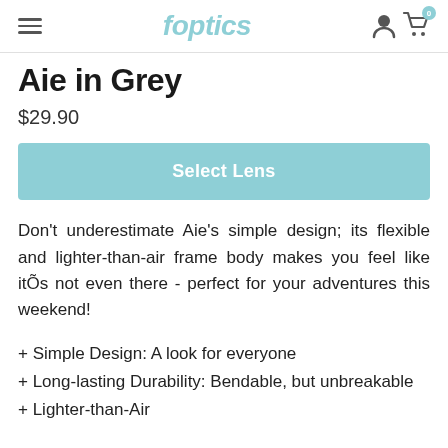foptics
Aie in Grey
$29.90
[Figure (other): Select Lens button - teal/green colored call-to-action button]
Don't underestimate Aie's simple design; its flexible and lighter-than-air frame body makes you feel like itÕs not even there - perfect for your adventures this weekend!
+ Simple Design: A look for everyone
+ Long-lasting Durability: Bendable, but unbreakable
+ Lighter-than-Air